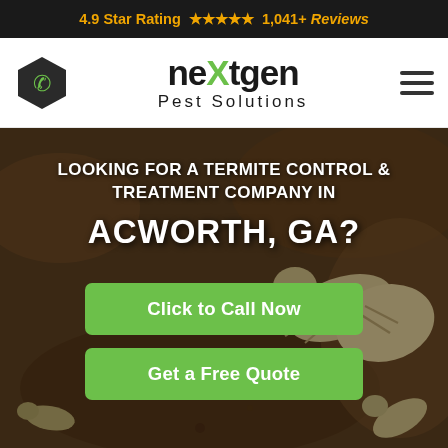4.9 Star Rating ★★★★★ 1,041+ Reviews
[Figure (logo): NextGen Pest Solutions logo with hexagon phone icon and hamburger menu]
[Figure (photo): Close-up macro photo of termites on wood/soil background]
LOOKING FOR A TERMITE CONTROL & TREATMENT COMPANY IN ACWORTH, GA?
Click to Call Now
Get a Free Quote